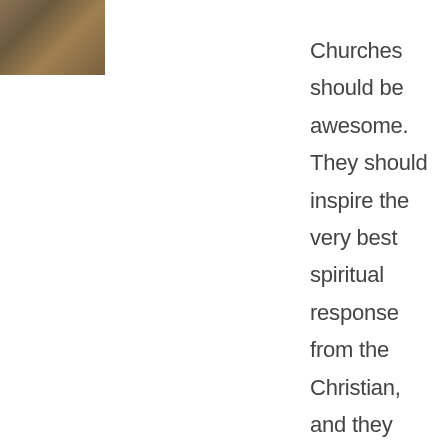[Figure (photo): Partial photo visible in top-left corner, appears to show an animal or textured surface in brown tones]
Churches should be awesome. They should inspire the very best spiritual response from the Christian, and they must aspire to be convincing to the unbeliever as well. A church can be more than simply a Sunday service and is meant to be an important everyday entity. The Lord himself conceived the church and through Him, the church was actually born. It is called a “glorious church” (Ephesians 5:27). A church functioning with the Lord is a potent force. A church without